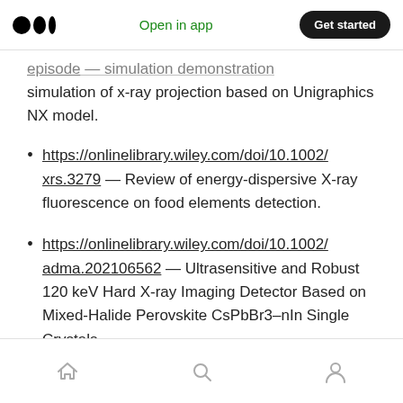Medium app navigation bar with logo, 'Open in app' link, and 'Get started' button
simulation of x-ray projection based on Unigraphics NX model.
https://onlinelibrary.wiley.com/doi/10.1002/xrs.3279 — Review of energy-dispersive X-ray fluorescence on food elements detection.
https://onlinelibrary.wiley.com/doi/10.1002/adma.202106562 — Ultrasensitive and Robust 120 keV Hard X-ray Imaging Detector Based on Mixed-Halide Perovskite CsPbBr3–nIn Single Crystals.
Bottom navigation bar with home, search, and profile icons